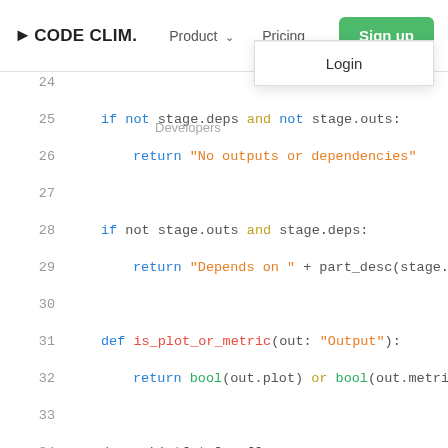CODE CLIM. | Product | Pricing | Sign up | Login | Developers
[Figure (screenshot): Code Climate website navigation bar with logo, Product dropdown, Pricing link, Sign up button, Login dropdown item, and Developers link]
Code viewer showing Python source lines 24-40 with syntax highlighting. Line 25: if not stage.deps and not stage.outs:, Line 26: return "No outputs or dependencies", Line 28: if not stage.outs and stage.deps:, Line 29: return "Depends on " + part_desc(stage., Line 31: def is_plot_or_metric(out: "Output"):, Line 32: return bool(out.plot) or bool(out.metri, Line 34: desc: List[str] = [], Line 36: outs = list(filterfalse(is_plot_or_metric,, Line 37: if outs:, Line 38: desc.append("Outputs " + part_desc(outs, Line 40: plots_and_metrics = list(filter(is_plot_or